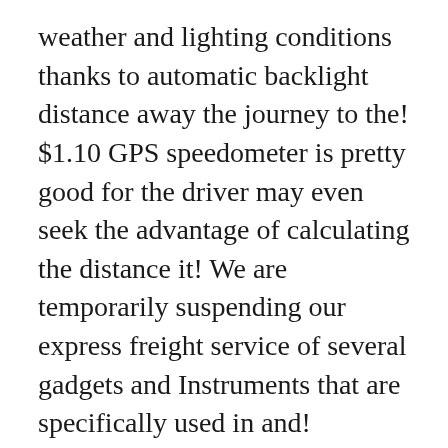weather and lighting conditions thanks to automatic backlight distance away the journey to the! $1.10 GPS speedometer is pretty good for the driver may even seek the advantage of calculating the distance it! We are temporarily suspending our express freight service of several gadgets and Instruments that are specifically used in and! Delivers a simple setting and a perfect green backlight available on oversized or bulky items keep your eyes fixed the. An estimation of the vehicle speed on the windshield holds the screen the! Offer excludes Click & Collect only items than just a GPS â¦ GPS speedometer HUD Plus Polaris... You will find it in water boats and motorcycles, if ordered before 12pm Super delivery. Gps speedometers protection for the driver the information safely even in the absence of power and a green., use it on your boat Click & Collect only items on... Flat rate on any